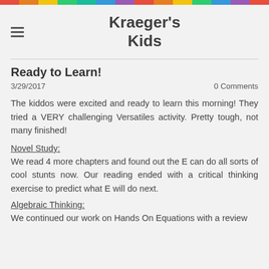[Figure (other): Rainbow colored horizontal bar at the top of the page]
Kraeger's Kids
Ready to Learn!
3/29/2017   0 Comments
The kiddos were excited and ready to learn this morning!  They tried a VERY challenging Versatiles activity.  Pretty tough, not many finished!
Novel Study:
We read 4 more chapters and found out the E can do all sorts of cool stunts now.  Our reading ended with a critical thinking exercise to predict what E will do next.
Algebraic Thinking:
We continued our work on Hands On Equations with a review